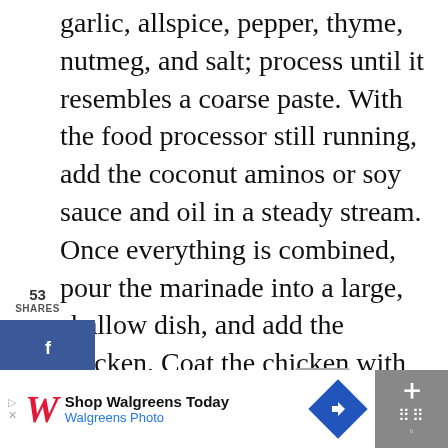garlic, allspice, pepper, thyme, nutmeg, and salt; process until it resembles a coarse paste. With the food processor still running, add the coconut aminos or soy sauce and oil in a steady stream. Once everything is combined, pour the marinade into a large, shallow dish, and add the chicken. Coat the chicken with the mixture. For best flavoring, cover, and refrigerate the chicken overnight.
53
SHARES
[Figure (screenshot): Social share sidebar with Facebook (blue), Twitter (light blue), and Pinterest (red) share buttons]
[Figure (screenshot): Heart/save button (teal circle) and share icon with count 56]
[Figure (screenshot): WHAT'S NEXT → Top Reasons To Stay at th... widget with thumbnail image]
[Figure (screenshot): Walgreens advertisement bar: Shop Walgreens Today, Walgreens Photo, with blue diamond navigation icon and close button]